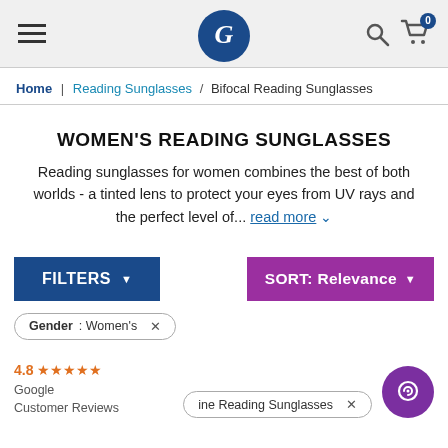[Figure (logo): Website header with hamburger menu, circular G logo on dark blue background, search icon, and shopping cart icon with 0 badge]
Home | Reading Sunglasses / Bifocal Reading Sunglasses
WOMEN'S READING SUNGLASSES
Reading sunglasses for women combines the best of both worlds - a tinted lens to protect your eyes from UV rays and the perfect level of... read more ∨
FILTERS ▼
SORT: Relevance ▼
Gender: Women's  X
4.8 ★★★★★
Google
Customer Reviews
ine Reading Sunglasses  X